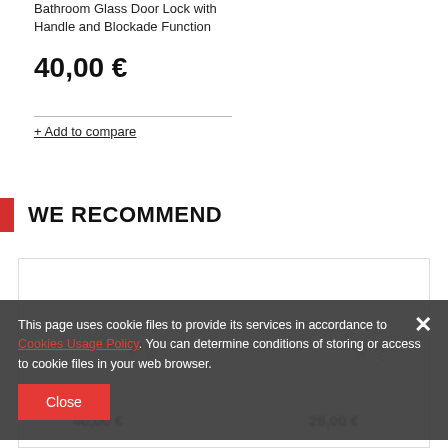Bathroom Glass Door Lock with Handle and Blockade Function
40,00 €
+ Add to compare
WE RECOMMEND
[Figure (screenshot): Product grid showing two loading spinners and two blurred prices (40,00 € and 28,00 €) in a white bordered box]
This page uses cookie files to provide its services in accordance to Cookies Usage Policy. You can determine conditions of storing or access to cookie files in your web browser.
Close